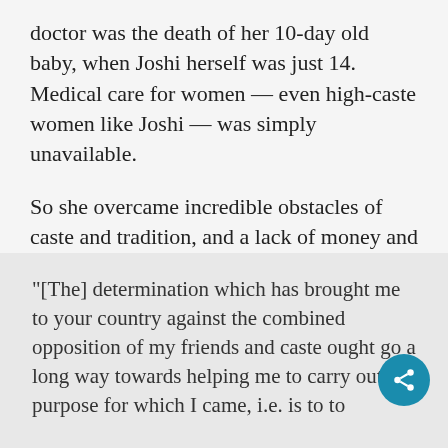doctor was the death of her 10-day old baby, when Joshi herself was just 14. Medical care for women — even high-caste women like Joshi — was simply unavailable.
So she overcame incredible obstacles of caste and tradition, and a lack of money and connections, to travel to America and apply for admission to WMCP.
Here's an excerpt from her letter of application to WMCP:
“[The] determination which has brought me to your country against the combined opposition of my friends and caste ought go a long way towards helping me to carry out the purpose for which I came, i.e. is to to